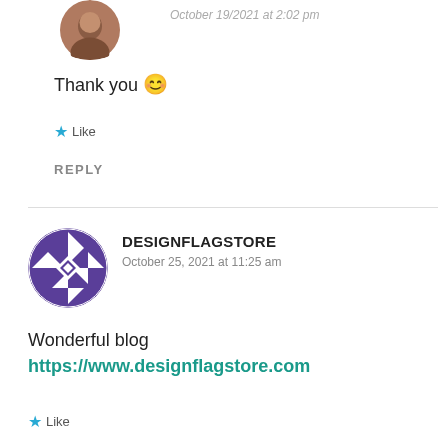[Figure (photo): Partial circular profile photo of a person at the top of the page]
October 19/2021 at 2:02 pm (partially visible)
Thank you 😊
★ Like
REPLY
[Figure (logo): Circular logo for DESIGNFLAGSTORE with a geometric quilt/diamond pattern in purple and white]
DESIGNFLAGSTORE
October 25, 2021 at 11:25 am
Wonderful blog
https://www.designflagstore.com
★ Like